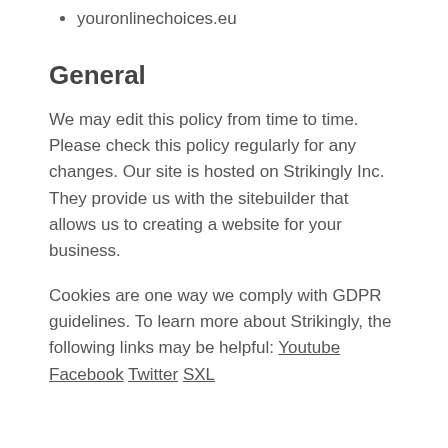youronlinechoices.eu
General
We may edit this policy from time to time. Please check this policy regularly for any changes. Our site is hosted on Strikingly Inc. They provide us with the sitebuilder that allows us to creating a website for your business.
Cookies are one way we comply with GDPR guidelines. To learn more about Strikingly, the following links may be helpful: Youtube Facebook Twitter SXL